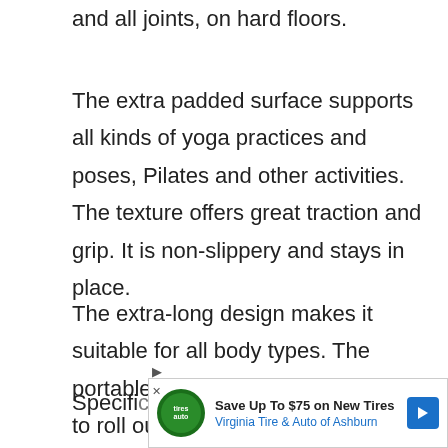and all joints, on hard floors.
The extra padded surface supports all kinds of yoga practices and poses, Pilates and other activities. The texture offers great traction and grip. It is non-slippery and stays in place.
The extra-long design makes it suitable for all body types. The portable and lightweight mat is easy to roll out and pack. Very easy to clean and maintain as it is moisture-resistant.
Specifications
[Figure (infographic): Advertisement banner: Save Up To $75 on New Tires - Virginia Tire & Auto of Ashburn]